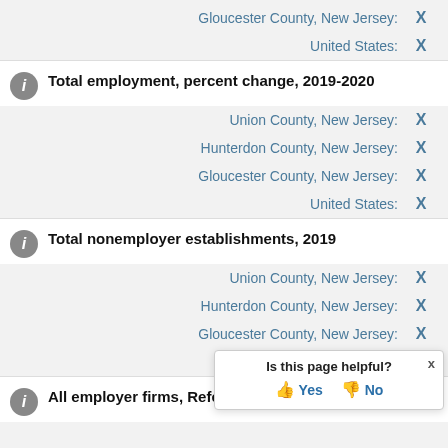Gloucester County, New Jersey: X
United States: X
Total employment, percent change, 2019-2020
Union County, New Jersey: X
Hunterdon County, New Jersey: X
Gloucester County, New Jersey: X
United States: X
Total nonemployer establishments, 2019
Union County, New Jersey: X
Hunterdon County, New Jersey: X
Gloucester County, New Jersey: X
United States: X
All employer firms, Reference